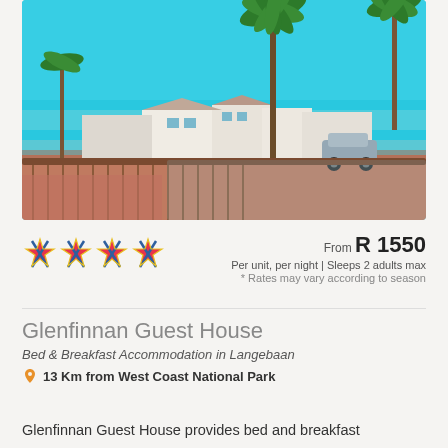[Figure (photo): Exterior balcony view of Glenfinnan Guest House overlooking a coastal town with palm trees, white buildings, and a turquoise ocean horizon under a bright blue sky]
From R 1550
Per unit, per night | Sleeps 2 adults max
* Rates may vary according to season
Glenfinnan Guest House
Bed & Breakfast Accommodation in Langebaan
13 Km from West Coast National Park
Glenfinnan Guest House provides bed and breakfast